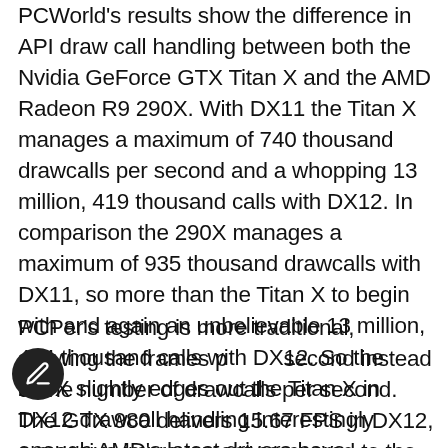PCWorld's results show the difference in API draw call handling between both the Nvidia GeForce GTX Titan X and the AMD Radeon R9 290X. With DX11 the Titan X manages a maximum of 740 thousand drawcalls per second and a whopping 13 million, 419 thousand calls with DX12. In comparison the 290X manages a maximum of 935 thousand drawcalls with DX11, so more than the Titan X to begin with and again an unbelievable 13 million, 474 thousand calls with DX12. So the 290X slightly edges out the Titan X in DX12 drawcall handling.Interestingly enough AMD's latest drivers have improved DX12 performance to the point where it's actually a head of Mantle by about 8%.
PCPer's testing is more traditional, showing the frames per second instead of the number of drawcalls per second. The GTX 980 delivers 15.67 FPS in DX12, a massive improvement compared to the 2.75 FPS it manages in DX11. On the other hand AMD's R9 290X